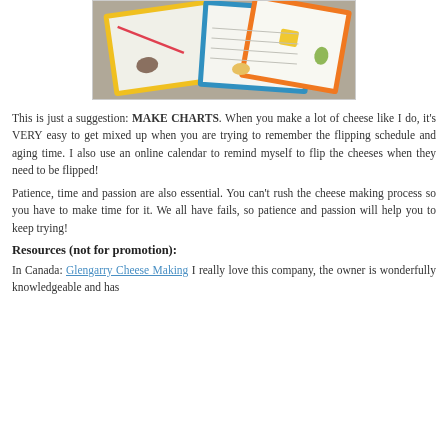[Figure (photo): Photo of colorful handmade cheese-making charts with cartoon illustrations, spread out on a table. Charts have colored borders (yellow, blue, orange, pink).]
This is just a suggestion: MAKE CHARTS. When you make a lot of cheese like I do, it's VERY easy to get mixed up when you are trying to remember the flipping schedule and aging time. I also use an online calendar to remind myself to flip the cheeses when they need to be flipped!
Patience, time and passion are also essential. You can't rush the cheese making process so you have to make time for it. We all have fails, so patience and passion will help you to keep trying!
Resources (not for promotion):
In Canada: Glengarry Cheese Making I really love this company, the owner is wonderfully knowledgeable and has